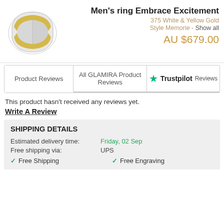[Figure (photo): Men's ring with white and yellow gold bands]
Men's ring Embrace Excitement
375 White & Yellow Gold
Style Memorie - Show all
AU $679.00
Product Reviews
All GLAMIRA Product Reviews
Trustpilot Reviews
This product hasn't received any reviews yet.
Write A Review
SHIPPING DETAILS
Estimated delivery time: Friday, 02 Sep
Free shipping via: UPS
Free Shipping
Free Engraving